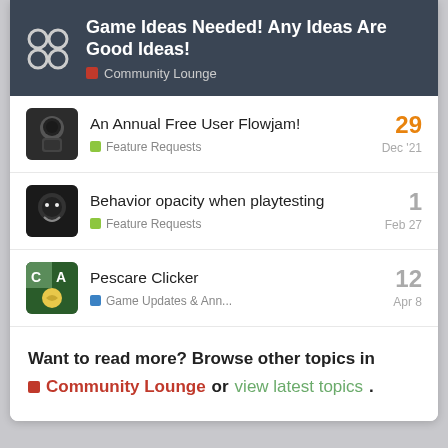Game Ideas Needed! Any Ideas Are Good Ideas! — Community Lounge
An Annual Free User Flowjam! | Feature Requests | Dec '21 | 29 replies
Behavior opacity when playtesting | Feature Requests | Feb 27 | 1 reply
Pescare Clicker | Game Updates & Ann... | Apr 8 | 12 replies
Want to read more? Browse other topics in Community Lounge or view latest topics.